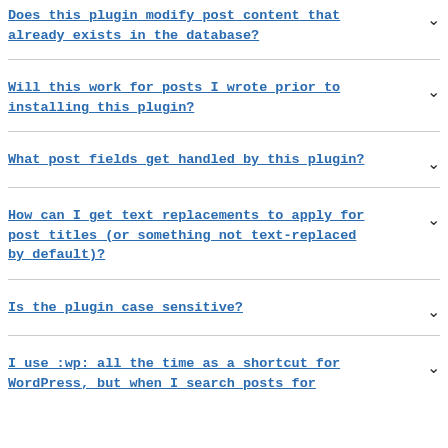Does this plugin modify post content that already exists in the database?
Will this work for posts I wrote prior to installing this plugin?
What post fields get handled by this plugin?
How can I get text replacements to apply for post titles (or something not text-replaced by default)?
Is the plugin case sensitive?
I use :wp: all the time as a shortcut for WordPress, but when I search posts for